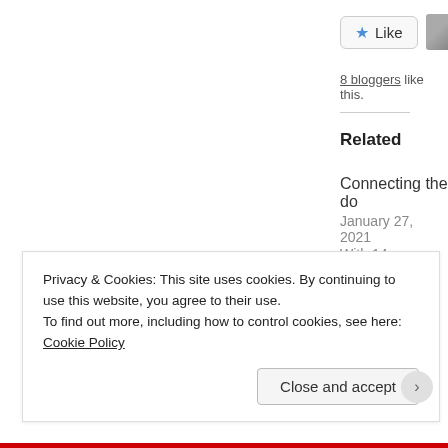[Figure (other): Like button with blue star icon, and avatar thumbnails next to it]
8 bloggers like this.
Related
Connecting the do
January 27, 2021
With 14 comments
A is for Apple
March 11, 2014
In "Parenting"
Privacy & Cookies: This site uses cookies. By continuing to use this website, you agree to their use.
To find out more, including how to control cookies, see here: Cookie Policy
Close and accept